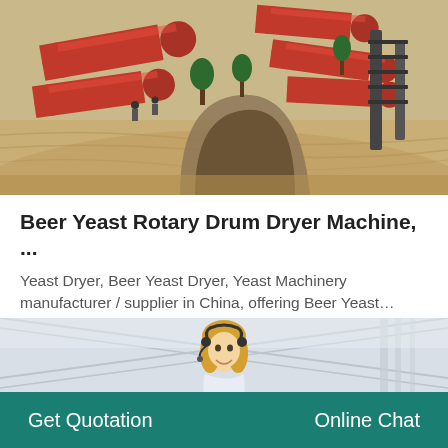[Figure (photo): Aerial view of industrial rotary drum dryer machines (red/orange cylinders) at a construction or mining site with sandy terrain, workers, and heavy equipment visible.]
Beer Yeast Rotary Drum Dryer Machine, ...
Yeast Dryer, Beer Yeast Dryer, Yeast Machinery manufacturer / supplier in China, offering Beer Yeast…
GET PRICE →
[Figure (illustration): Rocket icon illustration, cartoon-style white rocket with black details and yellow flame.]
[Figure (photo): Customer service agent, a smiling blonde woman wearing a headset, in a warehouse/industrial setting background.]
Get Quotation
Online Chat